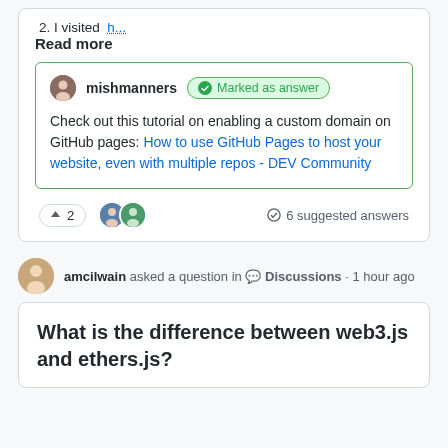2. I visited  h...
Read more
mishmanners  Marked as answer
Check out this tutorial on enabling a custom domain on GitHub pages: How to use GitHub Pages to host your website, even with multiple repos - DEV Community
↑ 2   6 suggested answers
amcilwain asked a question in 💬 Discussions · 1 hour ago
What is the difference between web3.js and ethers.js?